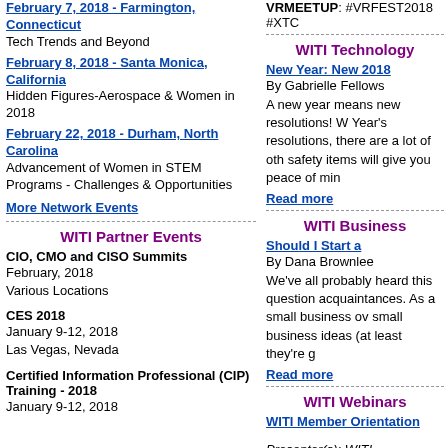February 7, 2018 - Farmington, Connecticut
Tech Trends and Beyond
February 8, 2018 - Santa Monica, California
Hidden Figures-Aerospace & Women in 2018
February 22, 2018 - Durham, North Carolina
Advancement of Women in STEM Programs - Challenges & Opportunities
More Network Events
WITI Partner Events
CIO, CMO and CISO Summits
February, 2018
Various Locations
CES 2018
January 9-12, 2018
Las Vegas, Nevada
Certified Information Professional (CIP) Training - 2018
January 9-12, 2018
VRMEETUP: #VRFEST2018 #XTC
WITI Technology
New Year: New 2018
By Gabrielle Fellows
A new year means new resolutions! W Year's resolutions, there are a lot of oth safety items will give you peace of min
Read more
WITI Business
Should I Start a
By Dana Brownlee
We've all probably heard this question acquaintances. As a small business ov small business ideas (at least they're g
Read more
WITI Webinars
WITI Member Orientation
Presenter(s): WITI